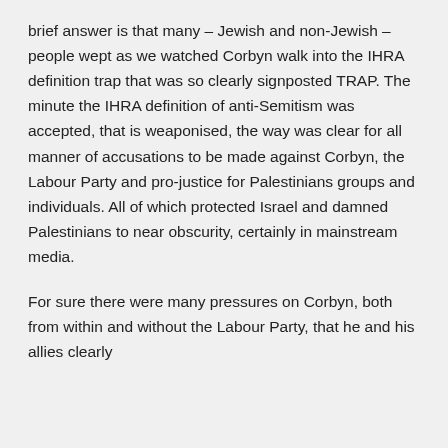brief answer is that many – Jewish and non-Jewish – people wept as we watched Corbyn walk into the IHRA definition trap that was so clearly signposted TRAP. The minute the IHRA definition of anti-Semitism was accepted, that is weaponised, the way was clear for all manner of accusations to be made against Corbyn, the Labour Party and pro-justice for Palestinians groups and individuals. All of which protected Israel and damned Palestinians to near obscurity, certainly in mainstream media.
For sure there were many pressures on Corbyn, both from within and without the Labour Party, that he and his allies clearly